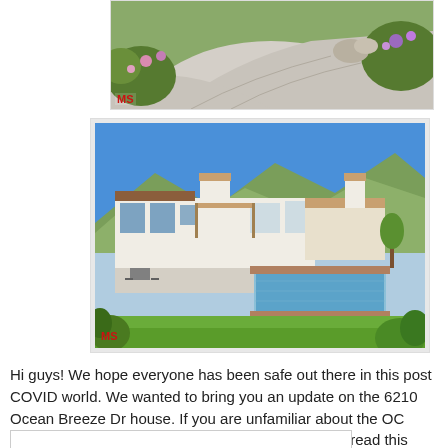[Figure (photo): Aerial/ground view of a driveway with curved concrete path and colorful garden landscaping with pink and purple flowers, watermarked MS in red]
[Figure (photo): Exterior view of a large Mediterranean-style white house with a swimming pool, green lawn, mountains in the background, blue sky, watermarked MS in red]
Hi guys! We hope everyone has been safe out there in this post COVID world. We wanted to bring you an update on the 6210 Ocean Breeze Dr house. If you are unfamiliar about the OC significance of this house and what happened to it, read this article here to get caught up on all the details!